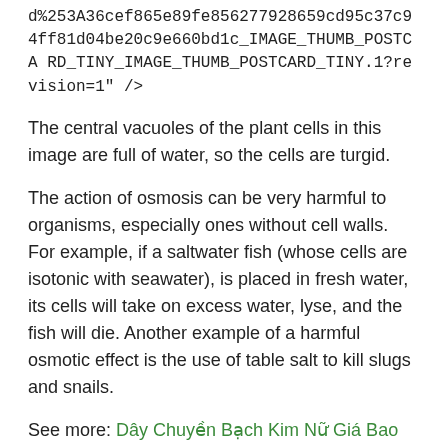d%253A36cef865e89fe856277928659cd95c37c94ff81d04be20c9e660bd1c_IMAGE_THUMB_POSTCARD_TINY_IMAGE_THUMB_POSTCARD_TINY.1?revision=1" />
The central vacuoles of the plant cells in this image are full of water, so the cells are turgid.
The action of osmosis can be very harmful to organisms, especially ones without cell walls. For example, if a saltwater fish (whose cells are isotonic with seawater), is placed in fresh water, its cells will take on excess water, lyse, and the fish will die. Another example of a harmful osmotic effect is the use of table salt to kill slugs and snails.
See more: Dây Chuyền Bạch Kim Nữ Giá Bao Nhiêu, Trang Sức Bạch Kim